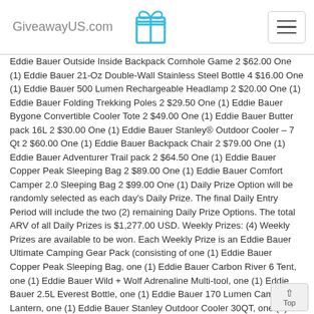GiveawayUS.com
Eddie Bauer Outside Inside Backpack Cornhole Game 2 $62.00 One (1) Eddie Bauer 21-Oz Double-Wall Stainless Steel Bottle 4 $16.00 One (1) Eddie Bauer 500 Lumen Rechargeable Headlamp 2 $20.00 One (1) Eddie Bauer Folding Trekking Poles 2 $29.50 One (1) Eddie Bauer Bygone Convertible Cooler Tote 2 $49.00 One (1) Eddie Bauer Butter pack 16L 2 $30.00 One (1) Eddie Bauer Stanley® Outdoor Cooler – 7 Qt 2 $60.00 One (1) Eddie Bauer Backpack Chair 2 $79.00 One (1) Eddie Bauer Adventurer Trail pack 2 $64.50 One (1) Eddie Bauer Copper Peak Sleeping Bag 2 $89.00 One (1) Eddie Bauer Comfort Camper 2.0 Sleeping Bag 2 $99.00 One (1) Daily Prize Option will be randomly selected as each day's Daily Prize. The final Daily Entry Period will include the two (2) remaining Daily Prize Options. The total ARV of all Daily Prizes is $1,277.00 USD. Weekly Prizes: (4) Weekly Prizes are available to be won. Each Weekly Prize is an Eddie Bauer Ultimate Camping Gear Pack (consisting of one (1) Eddie Bauer Copper Peak Sleeping Bag, one (1) Eddie Bauer Carbon River 6 Tent, one (1) Eddie Bauer Wild + Wolf Adrenaline Multi-tool, one (1) Eddie Bauer 2.5L Everest Bottle, one (1) Eddie Bauer 170 Lumen Camp Lantern, one (1) Eddie Bauer Stanley Outdoor Cooler 30QT, one (1) Eddie Bauer Camp Chair High (Cinder) and one (1) Eddie Bauer Stanley Full Kitchen Base Camp Cook Set). The ARV of each Weekly Prize is $615.00 U The total ARV of all Weekly Prizes is $2,460.00 USD. The tot